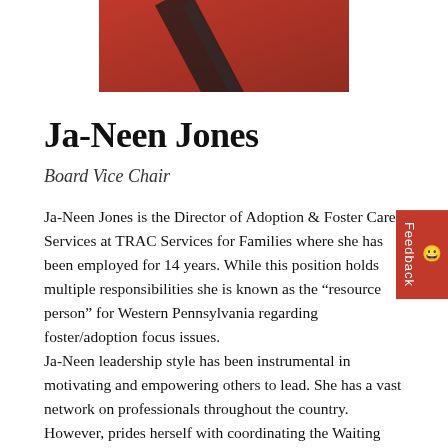[Figure (photo): Partial photo of a person wearing a red garment with a dark strap visible, cropped at shoulders/chest area]
Ja-Neen Jones
Board Vice Chair
Ja-Neen Jones is the Director of Adoption & Foster Care Services at TRAC Services for Families where she has been employed for 14 years. While this position holds multiple responsibilities she is known as the “resource person” for Western Pennsylvania regarding foster/adoption focus issues.
Ja-Neen leadership style has been instrumental in motivating and empowering others to lead. She has a vast network on professionals throughout the country. However, prides herself with coordinating the Waiting Child segments featured on the KDKA/CBS Pittsburgh. She attends dozens of events throughout the year that